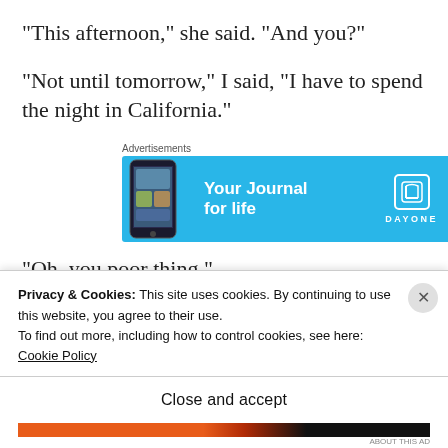“This afternoon,” she said. “And you?”
“Not until tomorrow,” I said, “I have to spend the night in California.”
[Figure (other): Advertisement banner for Day One journal app with blue background, phone image, text 'Your Journal for life' and Day One logo]
“Oh, you poor thing.”
Privacy & Cookies: This site uses cookies. By continuing to use this website, you agree to their use.
To find out more, including how to control cookies, see here: Cookie Policy
Close and accept